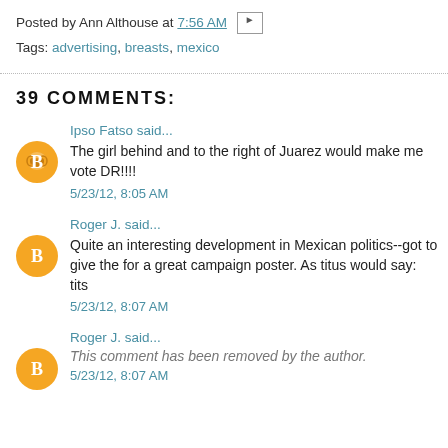Posted by Ann Althouse at 7:56 AM [icon]
Tags: advertising, breasts, mexico
39 COMMENTS:
Ipso Fatso said...
The girl behind and to the right of Juarez would make me vote DR!!!!
5/23/12, 8:05 AM
Roger J. said...
Quite an interesting development in Mexican politics--got to give the for a great campaign poster. As titus would say: tits
5/23/12, 8:07 AM
Roger J. said...
This comment has been removed by the author.
5/23/12, 8:07 AM